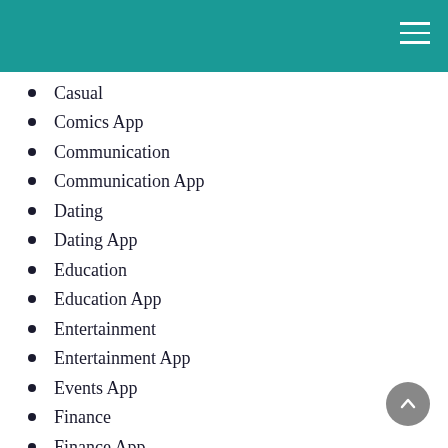Casual
Comics App
Communication
Communication App
Dating
Dating App
Education
Education App
Entertainment
Entertainment App
Events App
Finance
Finance App
Food & Drink
Food & Drink App
Health & Fitness
Health & Fitness App